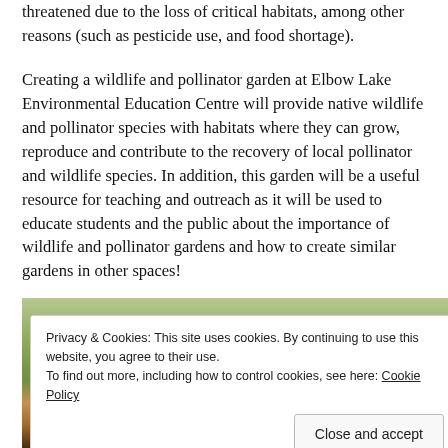threatened due to the loss of critical habitats, among other reasons (such as pesticide use, and food shortage).
Creating a wildlife and pollinator garden at Elbow Lake Environmental Education Centre will provide native wildlife and pollinator species with habitats where they can grow, reproduce and contribute to the recovery of local pollinator and wildlife species. In addition, this garden will be a useful resource for teaching and outreach as it will be used to educate students and the public about the importance of wildlife and pollinator gardens and how to create similar gardens in other spaces!
[Figure (photo): Photograph of a butterfly (monarch) on flowers, partially visible at the bottom of the page, overlaid with a cookie consent banner.]
Privacy & Cookies: This site uses cookies. By continuing to use this website, you agree to their use.
To find out more, including how to control cookies, see here: Cookie Policy
Close and accept